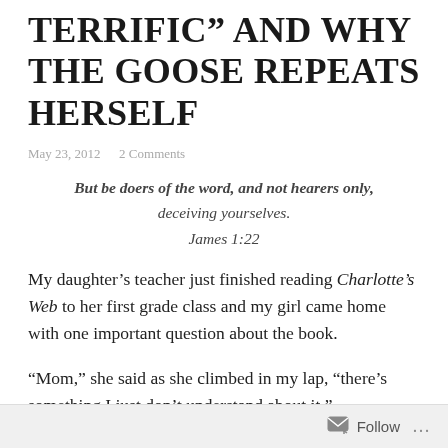TERRIFIC” AND WHY THE GOOSE REPEATS HERSELF
May 23, 2012  2 Comments
But be doers of the word, and not hearers only, deceiving yourselves.
James 1:22
My daughter’s teacher just finished reading Charlotte’s Web to her first grade class and my girl came home with one important question about the book.
“Mom,” she said as she climbed in my lap, “there’s something I just don’t understand about it.”